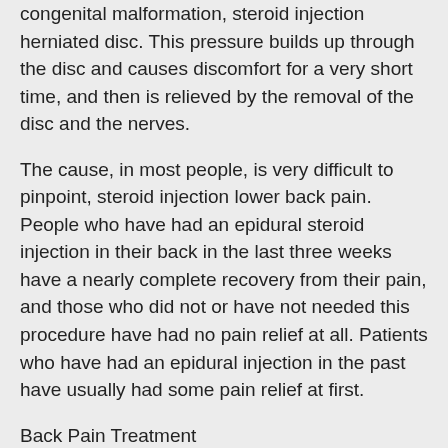congenital malformation, steroid injection herniated disc. This pressure builds up through the disc and causes discomfort for a very short time, and then is relieved by the removal of the disc and the nerves.
The cause, in most people, is very difficult to pinpoint, steroid injection lower back pain. People who have had an epidural steroid injection in their back in the last three weeks have a nearly complete recovery from their pain, and those who did not or have not needed this procedure have had no pain relief at all. Patients who have had an epidural injection in the past have usually had some pain relief at first.
Back Pain Treatment
The typical treatment for low back pain and/or epidural steroid injection does not require any surgery or prescription drugs.